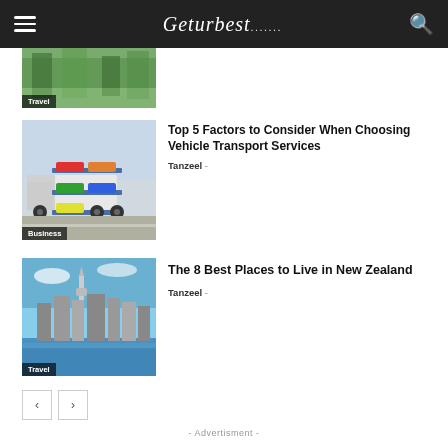Geturbest.com
[Figure (photo): Partial view of article thumbnail with Travel badge, showing trees/nature scene]
Travel
[Figure (photo): Car transport truck carrying multiple vehicles on a multi-level carrier]
Business
Top 5 Factors to Consider When Choosing Vehicle Transport Services
Tanzeel -
[Figure (photo): Auckland city skyline with Sky Tower and waterfront, New Zealand]
Travel
The 8 Best Places to Live in New Zealand
Tanzeel -
- Advertisment -